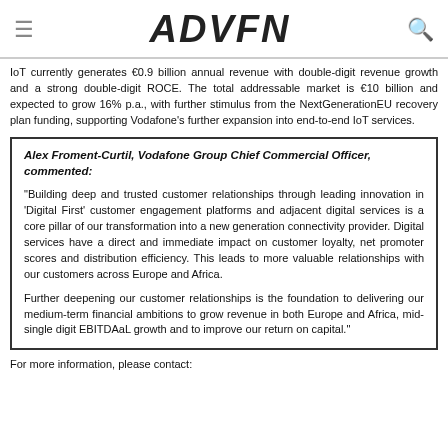ADVFN
IoT currently generates €0.9 billion annual revenue with double-digit revenue growth and a strong double-digit ROCE. The total addressable market is €10 billion and expected to grow 16% p.a., with further stimulus from the NextGenerationEU recovery plan funding, supporting Vodafone's further expansion into end-to-end IoT services.
Alex Froment-Curtil, Vodafone Group Chief Commercial Officer, commented:

"Building deep and trusted customer relationships through leading innovation in 'Digital First' customer engagement platforms and adjacent digital services is a core pillar of our transformation into a new generation connectivity provider. Digital services have a direct and immediate impact on customer loyalty, net promoter scores and distribution efficiency. This leads to more valuable relationships with our customers across Europe and Africa.

Further deepening our customer relationships is the foundation to delivering our medium-term financial ambitions to grow revenue in both Europe and Africa, mid-single digit EBITDAaL growth and to improve our return on capital."
For more information, please contact: